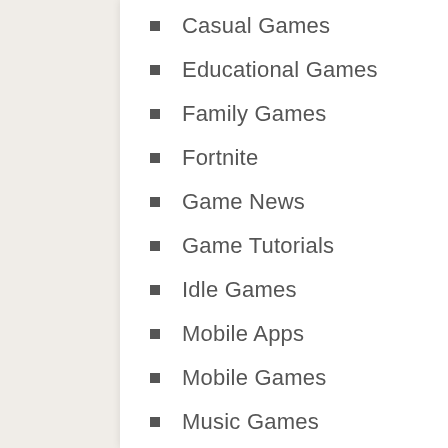Casual Games
Educational Games
Family Games
Fortnite
Game News
Game Tutorials
Idle Games
Mobile Apps
Mobile Games
Music Games
PC Games
Play Games Online
PS4 Games
Puzzle Games
Racing Games
Role Playing Games (RPG)
Simulation Games